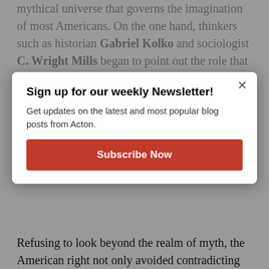mythical universe that governs the imagination of most Americans. On the one hand, thinkers such as historian Gabriel Kolko and sociologist C. Wright Mills began to point out the role that the dynamics of power, especially the power elite, have in shaping the policies adopted by the United States. On the other hand, the left began to abandon its claim towards the traditional myth and embraced the politics of the politically correct ideology.
Sign up for our weekly Newsletter!
Get updates on the latest and most popular blog posts from Acton.
Subscribe Now
Refusing to look beyond the realm of myth, the American right not only avoided contradicting the idea of good society but came to read this myth in a very literal way. Implicit goodness has been converted into effective goodness, which is to say that if American society is effectively good, then there must be some form of